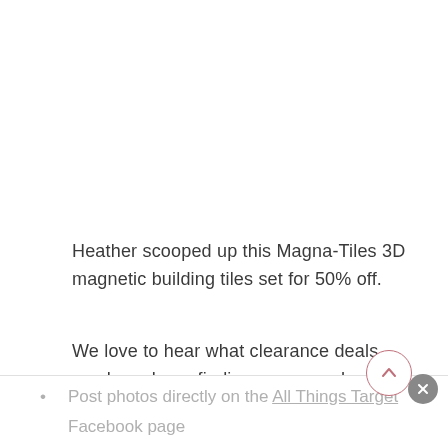Heather scooped up this Magna-Tiles 3D magnetic building tiles set for 50% off.
We love to hear what clearance deals you have been finding, you can share your Target clearance deals the following ways:
Post photos directly on the All Things Target Facebook page